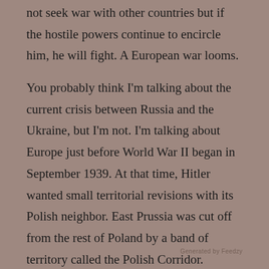not seek war with other countries but if the hostile powers continue to encircle him, he will fight. A European war looms.
You probably think I'm talking about the current crisis between Russia and the Ukraine, but I'm not. I'm talking about Europe just before World War II began in September 1939. At that time, Hitler wanted small territorial revisions with its Polish neighbor. East Prussia was cut off from the rest of Poland by a band of territory called the Polish Corridor.
As the great British historian A.J. P. Taylor explains, “The losses of territory to Poland were, for most Germans, the indelible grievance against Versailles. Hitler undertook a daring operation over this grievance when he planned co-operation with Poland. But there was a way out. The actual Germans under Polish rule might be forgotten, or
Generated by Feedzy